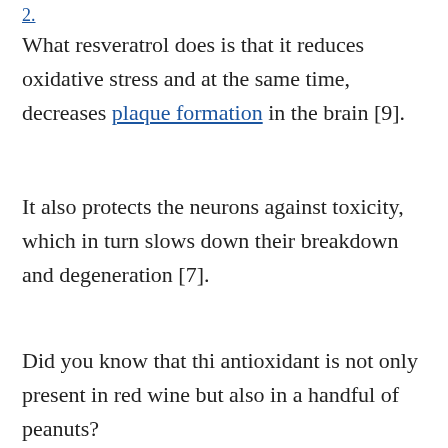What resveratrol does is that it reduces oxidative stress and at the same time, decreases plaque formation in the brain [9].
It also protects the neurons against toxicity, which in turn slows down their breakdown and degeneration [7].
Did you know that thi antioxidant is not only present in red wine but also in a handful of peanuts?